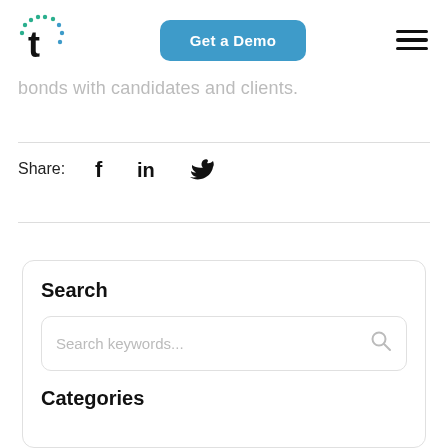Get a Demo
bonds with candidates and clients.
Share:
Search
Search keywords...
Categories